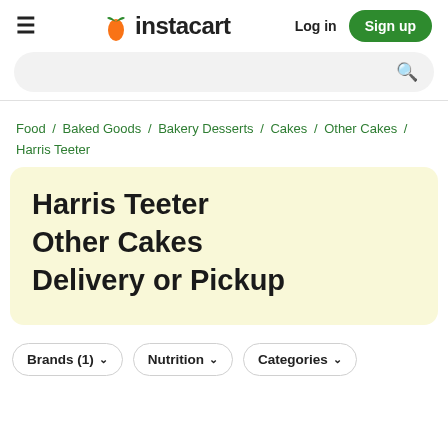instacart — Log in | Sign up
Search bar
Food / Baked Goods / Bakery Desserts / Cakes / Other Cakes / Harris Teeter
Harris Teeter Other Cakes Delivery or Pickup
Brands (1) ∨
Nutrition ∨
Categories ∨